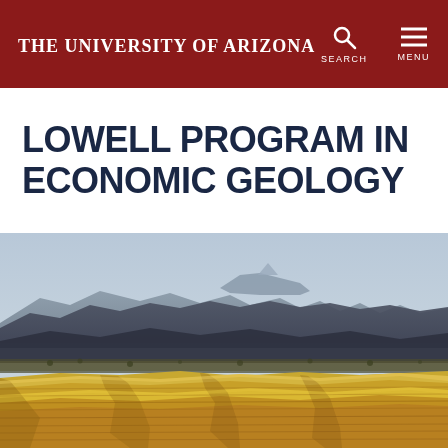The University of Arizona
LOWELL PROGRAM IN ECONOMIC GEOLOGY
[Figure (photo): Desert landscape photograph showing layered sedimentary rock formations in the foreground (tan/golden eroded badlands), with dark mountain ridges in the midground and a hazy blue-grey sky above. Arid Sonoran Desert or similar geology field site.]